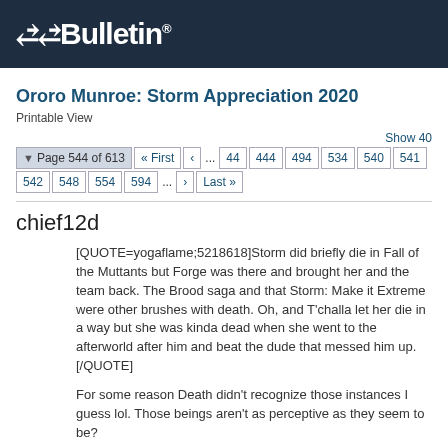vBulletin®
Ororo Munroe: Storm Appreciation 2020
Printable View
Show 40  ▼ Page 544 of 613  «First  ‹  ... 44  444  494  534  540  541  542  548  554  594  ...  ›  Last »
chief12d
[QUOTE=yogaflame;5218618]Storm did briefly die in Fall of the Mutants but Forge was there and brought her and the team back. The Brood saga and that Storm: Make it Xtreme were other brushes with death. Oh, and T'challa let her die in a way but she was kinda dead when she went to the afterworld after him and beat the dude that messed him up.[/QUOTE]

For some reason Death didn't recognize those instances I guess lol. Those beings aren't as perceptive as they seem to be?
Tofali